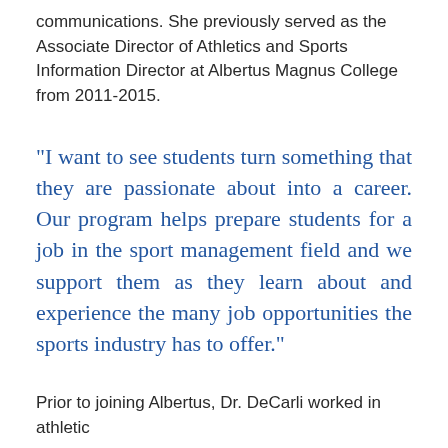communications. She previously served as the Associate Director of Athletics and Sports Information Director at Albertus Magnus College from 2011-2015.
"I want to see students turn something that they are passionate about into a career. Our program helps prepare students for a job in the sport management field and we support them as they learn about and experience the many job opportunities the sports industry has to offer."
Prior to joining Albertus, Dr. DeCarli worked in athletic